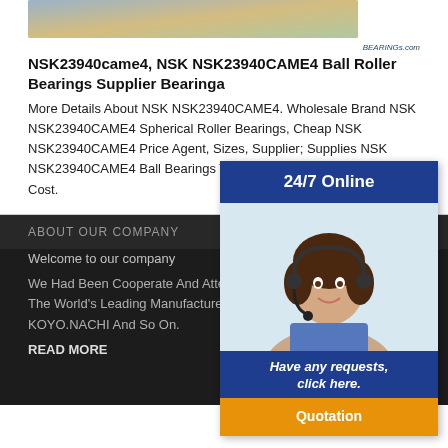[Figure (photo): Partial photo of a mechanical/bearing product or landscape, cropped at top]
NSK23940came4, NSK NSK23940CAME4 Ball Roller Bearings Supplier Bearinga
More Details About NSK NSK23940CAME4. Wholesale Brand NSK NSK23940CAME4 Spherical Roller Bearings, Cheap NSK NSK23940CAME4 Price Agent, Sizes, Supplier; Supplies NSK NSK23940CAME4 Ball Bearings Trader; We... Exporter And Distributor Of NSK NSK23940C... ry, Cost.
[Figure (infographic): 24/7 Online popup overlay with customer service representative photo, 'Have any requests, click here.' text in blue, and orange Quotation button]
ABOUT OUR COMPANY
Welcome to our company
We Had Been Cooperate And Atten Official Au... For Some Of The World's Leading Manufacturers I... EN. NSK. NTN. KOYO.NACHI And So On.
READ MORE